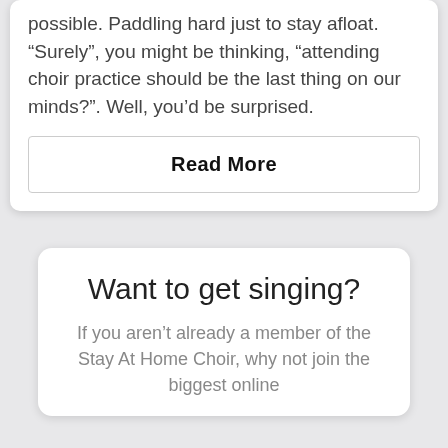possible. Paddling hard just to stay afloat. “Surely”, you might be thinking, “attending choir practice should be the last thing on our minds?”. Well, you’d be surprised.
Read More
Want to get singing?
If you aren’t already a member of the Stay At Home Choir, why not join the biggest online